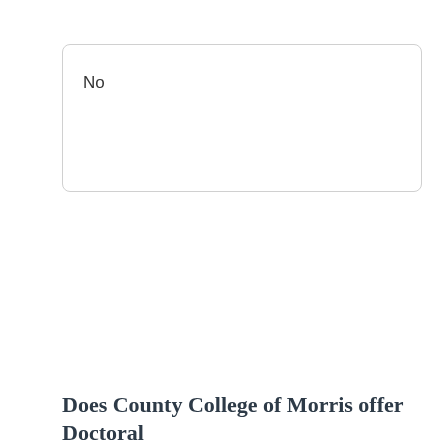No
Does County College of Morris offer Doctoral